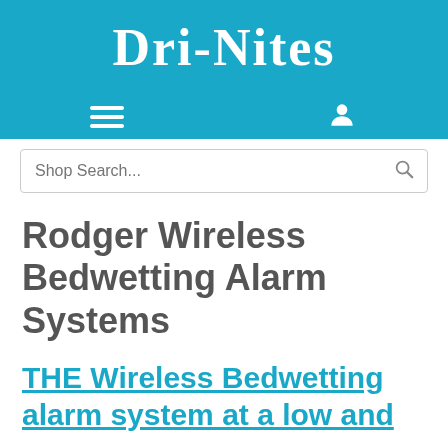Dri-Nites
[Figure (screenshot): Navigation icons: hamburger menu (three horizontal lines) on the left and user/account icon on the right, both white on blue background]
[Figure (screenshot): Search bar with placeholder text 'Shop Search...' and a search icon on the right]
Rodger Wireless Bedwetting Alarm Systems
THE Wireless Bedwetting alarm system at a low and